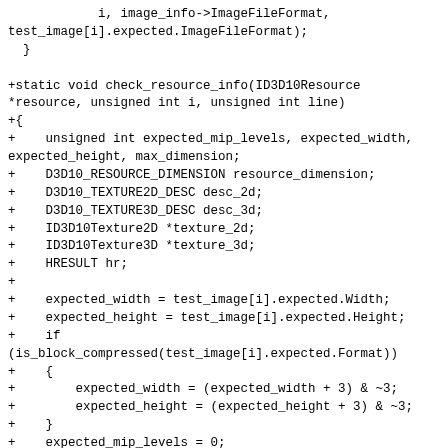i, image_info->ImageFileFormat,
test_image[i].expected.ImageFileFormat);
  }

+static void check_resource_info(ID3D10Resource
*resource, unsigned int i, unsigned int line)
+{
+    unsigned int expected_mip_levels, expected_width,
expected_height, max_dimension;
+    D3D10_RESOURCE_DIMENSION resource_dimension;
+    D3D10_TEXTURE2D_DESC desc_2d;
+    D3D10_TEXTURE3D_DESC desc_3d;
+    ID3D10Texture2D *texture_2d;
+    ID3D10Texture3D *texture_3d;
+    HRESULT hr;
+
+    expected_width = test_image[i].expected.Width;
+    expected_height = test_image[i].expected.Height;
+    if
(is_block_compressed(test_image[i].expected.Format))
+    {
+        expected_width = (expected_width + 3) & ~3;
+        expected_height = (expected_height + 3) & ~3;
+    }
+    expected_mip_levels = 0;
+    max_dimension = max(expected_width,
expected_height);
+    while (max_dimension)
+    {
+        ++expected_mip_levels;